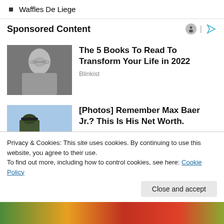Waffles De Liege
Sponsored Content
[Figure (photo): Black and white portrait of a young man with glasses and long hair]
The 5 Books To Read To Transform Your Life in 2022
Blinkist
[Figure (photo): Outdoor photo of a man in a cap and dark shirt in a field]
[Photos] Remember Max Baer Jr.? This Is His Net Worth.
Privacy & Cookies: This site uses cookies. By continuing to use this website, you agree to their use.
To find out more, including how to control cookies, see here: Cookie Policy
Close and accept